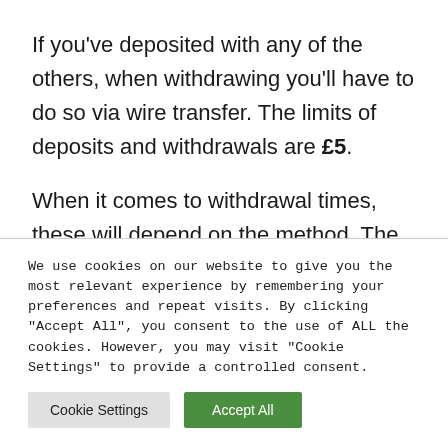If you've deposited with any of the others, when withdrawing you'll have to do so via wire transfer. The limits of deposits and withdrawals are £5.
When it comes to withdrawal times, these will depend on the method. The fastest is PayPal taking 2-3 days, followed by debit cards which can take 3-5 business days. The longest
We use cookies on our website to give you the most relevant experience by remembering your preferences and repeat visits. By clicking "Accept All", you consent to the use of ALL the cookies. However, you may visit "Cookie Settings" to provide a controlled consent.